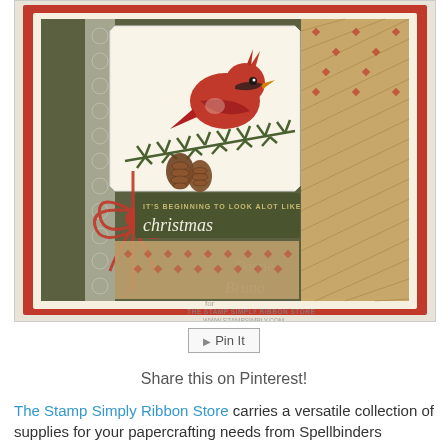[Figure (photo): A handmade Christmas card featuring a red cardinal bird perched on a pine branch with pinecones, decorated with lace, a red twine bow, and a sentiment reading 'It's beginning to look a lot like Christmas'. Signed by Darcie and Bunno for The Stamp Simply Ribbon Store, www.stampsimply.com.]
[Figure (other): Pin It button image]
Share this on Pinterest!
The Stamp Simply Ribbon Store carries a versatile collection of supplies for your papercrafting needs from Spellbinders